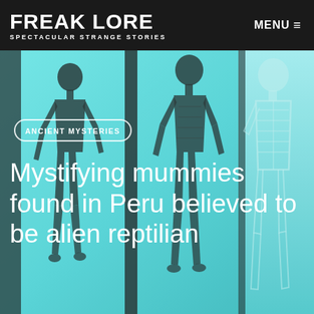FREAK LORE — SPECTACULAR STRANGE STORIES
[Figure (photo): X-ray style teal/cyan colored image showing three humanoid mummy figures side by side, resembling alien or reptilian beings, displayed on a screen or monitor]
ANCIENT MYSTERIES
Mystifying mummies found in Peru believed to be alien reptilian